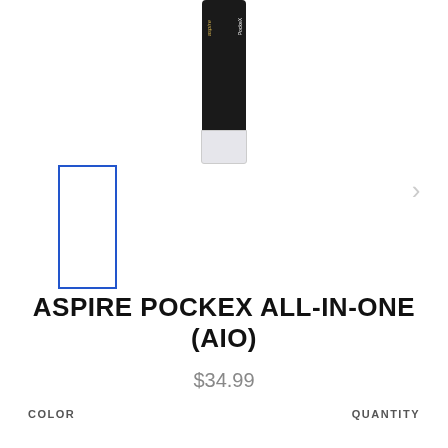[Figure (photo): Product photo of Aspire PockeX vape device — dark cylindrical body with gold 'aspire' branding and clear tank section at bottom, shown against white background]
[Figure (photo): Thumbnail image placeholder with blue border outline on left side of image carousel]
ASPIRE POCKEX ALL-IN-ONE (AIO)
$34.99
COLOR
QUANTITY